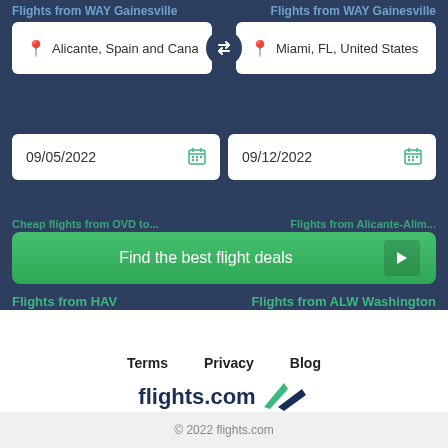Flights from WAY Gainesville
[Figure (screenshot): Flight search form with origin 'Alicante, Spain and Cana...' and destination 'Miami, FL, United States', dates 09/05/2022 and 09/12/2022, and a 'Find the best flight deals' green button]
Flights from HAV   Flights from ALW Washington
Terms   Privacy   Blog
[Figure (logo): flights.com by Expedia logo — dark navy 'flights.com' text with green swoosh/wing icon, followed by 'by Expedia' in green with globe icon]
© 2022 flights.com